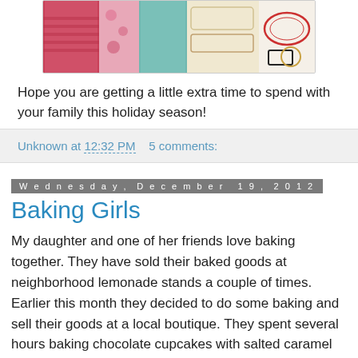[Figure (photo): Colorful scrapbooking paper and sticker sheets with holiday/Christmas designs in pink, teal, red, and gold patterns]
Hope you are getting a little extra time to spend with your family this holiday season!
Unknown at 12:32 PM   5 comments:
Wednesday, December 19, 2012
Baking Girls
My daughter and one of her friends love baking together. They have sold their baked goods at neighborhood lemonade stands a couple of times. Earlier this month they decided to do some baking and sell their goods at a local boutique. They spent several hours baking chocolate cupcakes with salted caramel frosting and cinnamon rolls.